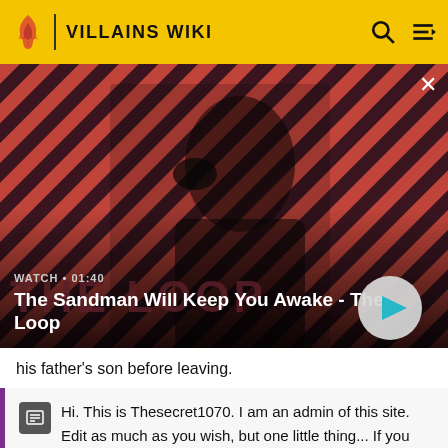VILLAINS WIKI
[Figure (screenshot): Video thumbnail showing a dark figure with a raven on shoulder against red and dark diagonal striped background. Text overlay: WATCH • 01:40, The Sandman Will Keep You Awake - The Loop, with play button.]
his father's son before leaving.
Hi. This is Thesecret1070. I am an admin of this site. Edit as much as you wish, but one little thing... If you are going to edit a lot, then make yourself a user and login. Other than that, enjoy Villains Wiki!!!